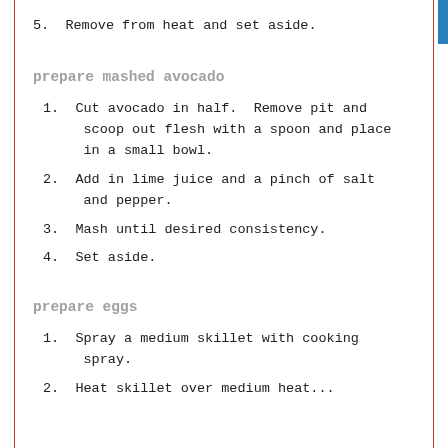5. Remove from heat and set aside.
prepare mashed avocado
1. Cut avocado in half. Remove pit and scoop out flesh with a spoon and place in a small bowl.
2. Add in lime juice and a pinch of salt and pepper.
3. Mash until desired consistency.
4. Set aside.
prepare eggs
1. Spray a medium skillet with cooking spray.
2. Heat skillet over medium heat...